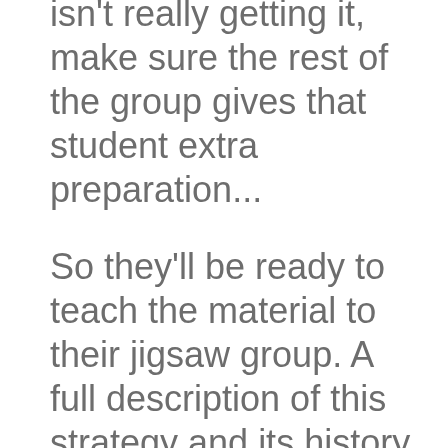isn't really getting it, make sure the rest of the group gives that student extra preparation...
So they'll be ready to teach the material to their jigsaw group. A full description of this strategy and its history can be found at the Jigsaw Classroom